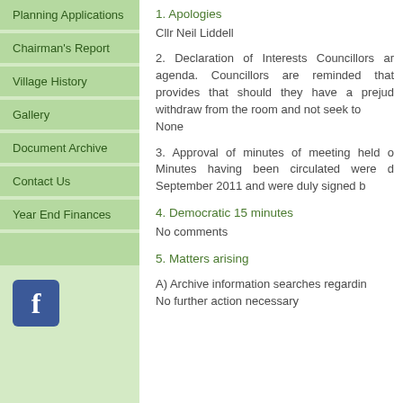Planning Applications
Chairman's Report
Village History
Gallery
Document Archive
Contact Us
Year End Finances
1. Apologies
Cllr Neil Liddell
2. Declaration of Interests Councillors ar agenda. Councillors are reminded that provides that should they have a prejud withdraw from the room and not seek to None
3. Approval of minutes of meeting held o Minutes having been circulated were d September 2011 and were duly signed b
4. Democratic 15 minutes
No comments
5. Matters arising
A) Archive information searches regardin No further action necessary